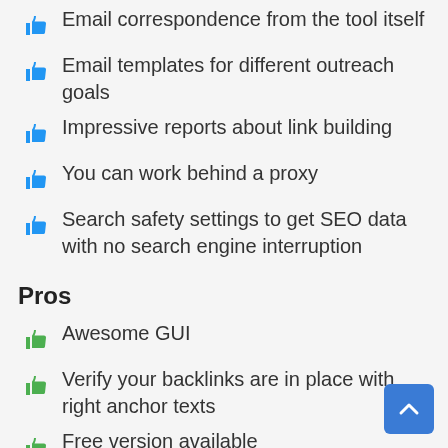Email correspondence from the tool itself
Email templates for different outreach goals
Impressive reports about link building
You can work behind a proxy
Search safety settings to get SEO data with no search engine interruption
Pros
Awesome GUI
Verify your backlinks are in place with right anchor texts
Free version available
Options to generate custom-made reports
Reports available in different languages
Well-organized knowledgebase articles